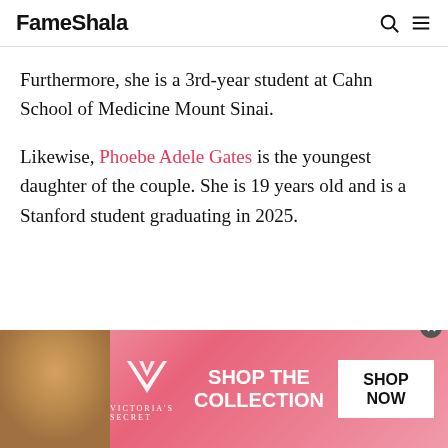FameShala
Furthermore, she is a 3rd-year student at Cahn School of Medicine Mount Sinai.
Likewise, Phoebe Adele Gates is the youngest daughter of the couple. She is 19 years old and is a Stanford student graduating in 2025.
[Figure (infographic): Victoria's Secret advertisement banner with pink background, model photo on left, VS logo in center, 'SHOP THE COLLECTION' text, and 'SHOP NOW' button on right]